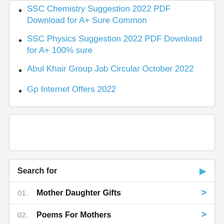SSC Chemistry Suggestion 2022 PDF Download for A+ Sure Common
SSC Physics Suggestion 2022 PDF Download for A+ 100% sure
Abul Khair Group Job Circular October 2022
Gp Internet Offers 2022
Search for
01. Mother Daughter Gifts
02. Poems For Mothers
Yahoo! Search | Sponsored